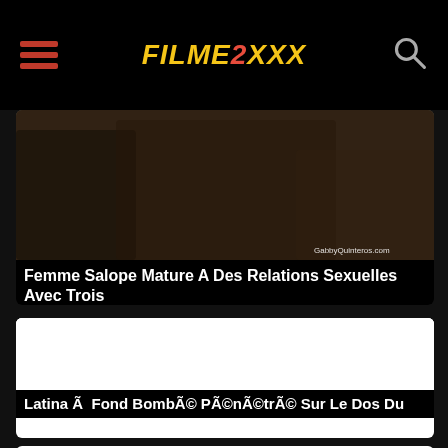FILMEZXXX
[Figure (photo): Thumbnail image of adult video with watermark GabbyQuinteros.com]
Femme Salope Mature A Des Relations Sexuelles Avec Trois
[Figure (photo): White/blank thumbnail image for second video card]
Latina Ã  Fond Bombé PÃ©nÃ©trÃ© Sur Le Dos Du